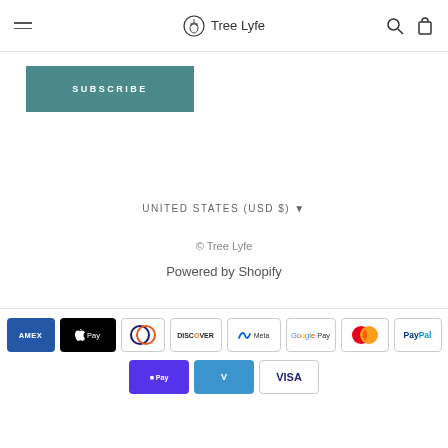Tree Lyfe
SUBSCRIBE
UNITED STATES (USD $)
© Tree Lyfe
Powered by Shopify
[Figure (other): Payment method icons: American Express, Apple Pay, Diners Club, Discover, Meta Pay, Google Pay, Mastercard, PayPal, Shop Pay, Venmo, Visa]